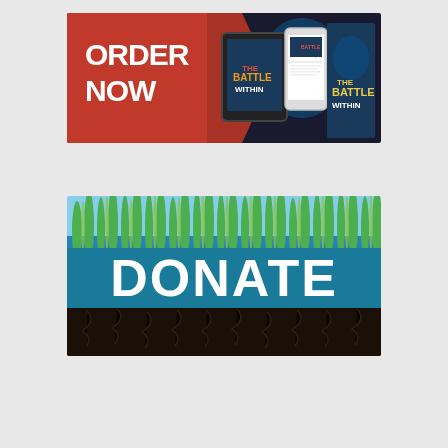[Figure (illustration): Book advertisement banner with 'ORDER NOW' text in white on a red chevron/arrow shape on the left. Center and right show tablet and phone displaying 'The Battle Within' book covers, plus a physical book cover on the right showing a human head silhouette with a lighthouse inside. Dark background.]
[Figure (illustration): Donate banner image showing bright green grass blades at the top against a blue sky, with a wide teal/blue horizontal band across the middle displaying 'DONATE' in large white bold letters. Below the band is dark soil and grass roots.]